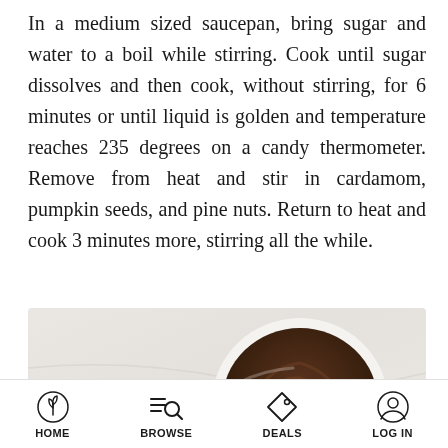In a medium sized saucepan, bring sugar and water to a boil while stirring. Cook until sugar dissolves and then cook, without stirring, for 6 minutes or until liquid is golden and temperature reaches 235 degrees on a candy thermometer. Remove from heat and stir in cardamom, pumpkin seeds, and pine nuts. Return to heat and cook 3 minutes more, stirring all the while.
[Figure (photo): Overhead photo showing a wooden spoon/stick diagonally on the left and a small white bowl filled with dark chocolate swirled mixture on the right, on a light marble/stone surface.]
HOME  BROWSE  DEALS  LOG IN